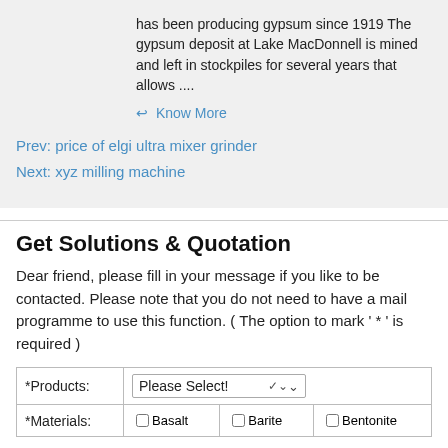has been producing gypsum since 1919 The gypsum deposit at Lake MacDonnell is mined and left in stockpiles for several years that allows ....
↩ Know More
Prev: price of elgi ultra mixer grinder
Next: xyz milling machine
Get Solutions & Quotation
Dear friend, please fill in your message if you like to be contacted. Please note that you do not need to have a mail programme to use this function. ( The option to mark ' * ' is required )
| *Products: | Please Select! | *Materials: | Basalt | Barite | Bentonite |
| --- | --- | --- | --- | --- | --- |
| *Products: | Please Select! |
| *Materials: | ☐ Basalt | ☐ Barite | ☐ Bentonite |